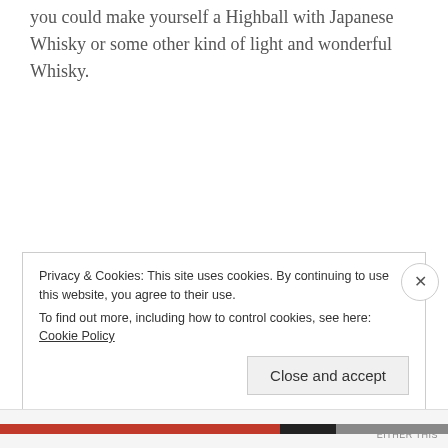you could make yourself a Highball with Japanese Whisky or some other kind of light and wonderful Whisky.
Akashi White Oak Highball
1 1/2 oz Akashi White Oak Japanese Whisky
7 drops Scrappy's Celery Bitters
Privacy & Cookies: This site uses cookies. By continuing to use this website, you agree to their use.
To find out more, including how to control cookies, see here: Cookie Policy
Close and accept